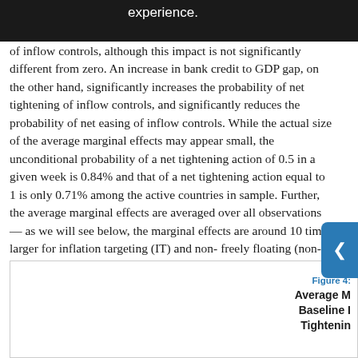of inflow controls, although this impact is not significantly different from zero. An increase in bank credit to GDP gap, on the other hand, significantly increases the probability of net tightening of inflow controls, and significantly reduces the probability of net easing of inflow controls. While the actual size of the average marginal effects may appear small, the unconditional probability of a net tightening action of 0.5 in a given week is 0.84% and that of a net tightening action equal to 1 is only 0.71% among the active countries in sample. Further, the average marginal effects are averaged over all observations—as we will see below, the marginal effects are around 10 times larger for inflation targeting (IT) and non-freely floating (non-FF) regimes.
Figure 4: Average M... Baseline ... Tightenin...